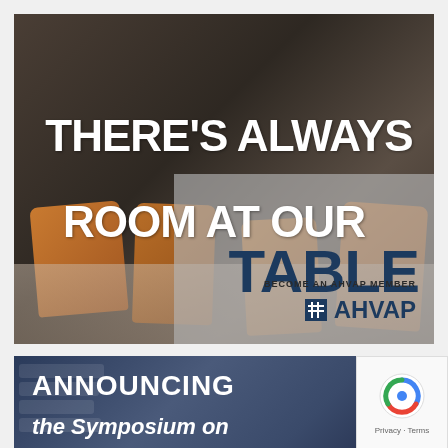[Figure (photo): Conference room with empty chairs around a table, overlaid with promotional text for AHVAP membership. Text reads: THERE'S ALWAYS ROOM AT OUR TABLE. BECOME AN AHVAP MEMBER. #AHVAP]
[Figure (photo): Partial banner image with keyboard in background, text reads: ANNOUNCING the Symposium on]